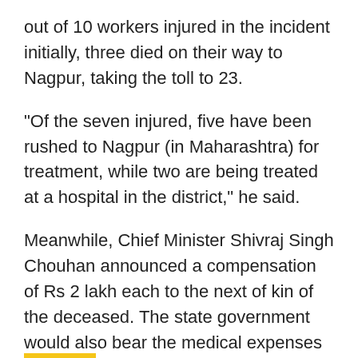out of 10 workers injured in the incident initially, three died on their way to Nagpur, taking the toll to 23.
"Of the seven injured, five have been rushed to Nagpur (in Maharashtra) for treatment, while two are being treated at a hospital in the district," he said.
Meanwhile, Chief Minister Shivraj Singh Chouhan announced a compensation of Rs 2 lakh each to the next of kin of the deceased. The state government would also bear the medical expenses of the injured.
The cracker factory was owned by one Waris Ahmed and was being run legally, Yadav said.